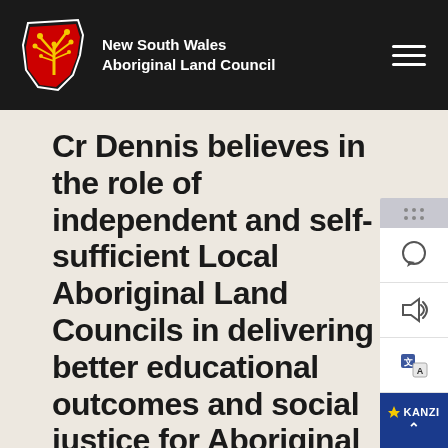New South Wales Aboriginal Land Council
Cr Dennis believes in the role of independent and self-sufficient Local Aboriginal Land Councils in delivering better educational outcomes and social justice for Aboriginal people.